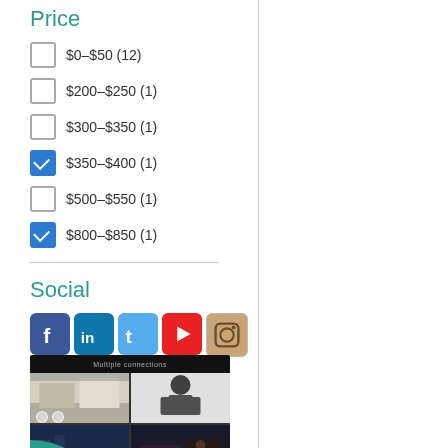Price
$0–$50 (12)
$200–$250 (1)
$300–$350 (1)
$350–$400 (1) [checked]
$500–$550 (1)
$800–$850 (1) [checked]
Social
[Figure (other): Social media icons: Facebook, LinkedIn, Twitter, YouTube, Instagram]
[Figure (screenshot): Screenshot of a video surveillance interface showing multiple camera views: office interior, silhouette figure, outdoor/parking area, and dark interior scene. Teal logo visible at bottom left.]